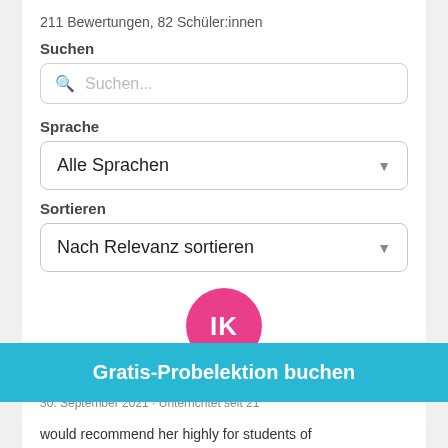211 Bewertungen, 82 Schüler:innen
Suchen
Suchen... (search input placeholder)
Sprache
Alle Sprachen (dropdown)
Sortieren
Nach Relevanz sortieren (dropdown)
[Figure (illustration): Pink circular avatar with initials IK in white text]
Igor 🇺🇸
30. September 2021 · Unterrichtet seit 21
Gratis-Probelektion buchen
would recommend her highly for students of